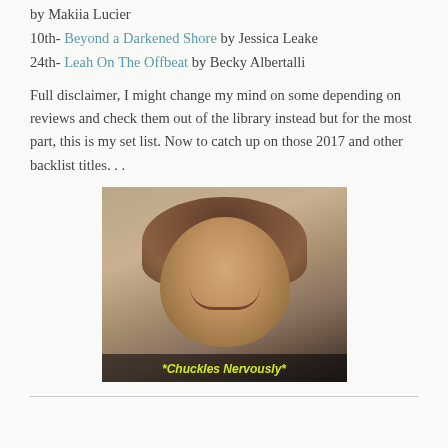by Makiia Lucier
10th- Beyond a Darkened Shore by Jessica Leake
24th- Leah On The Offbeat by Becky Albertalli
Full disclaimer, I might change my mind on some depending on reviews and check them out of the library instead but for the most part, this is my set list. Now to catch up on those 2017 and other backlist titles...
[Figure (photo): Animated GIF of a woman smiling/laughing with caption '*Chuckles Nervously*' in yellow italic text at the bottom]